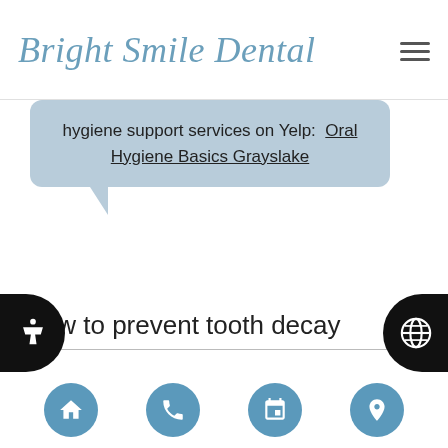Bright Smile Dental
hygiene support services on Yelp: Oral Hygiene Basics Grayslake
How to prevent tooth decay
Our team prevents tooth decay every day by helping our patients to have clean and healthy teeth. Tooth decay starts when plaque is left on the teeth, and the acid inside of it starts to eat away at the enamel. Keeping teeth clean by removing plaque, therefore,